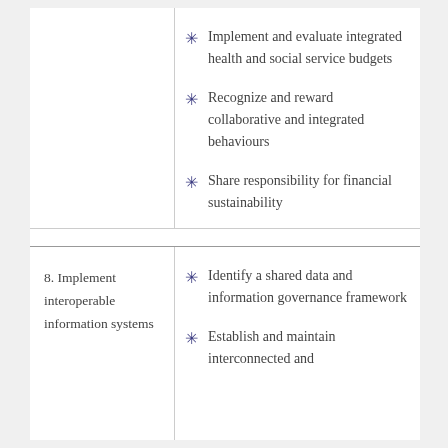Implement and evaluate integrated health and social service budgets
Recognize and reward collaborative and integrated behaviours
Share responsibility for financial sustainability
8. Implement interoperable information systems
Identify a shared data and information governance framework
Establish and maintain interconnected and interoperable digital systems